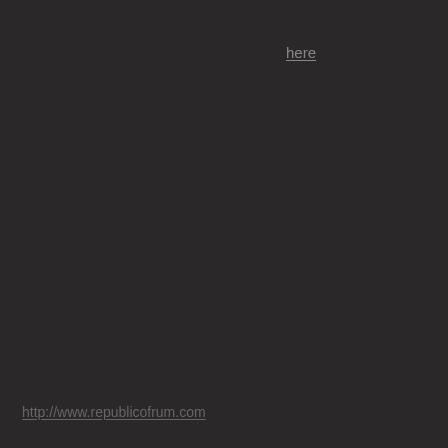here
http://www.republicofrum.com